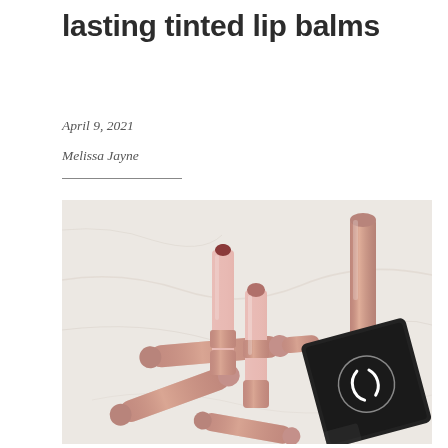lasting tinted lip balms
April 9, 2021
Melissa Jayne
[Figure (photo): Flat lay photo of multiple rose gold lip balm tubes (some open, some capped and lying down) arranged on a white marble surface alongside a black Chanel compact mirror]